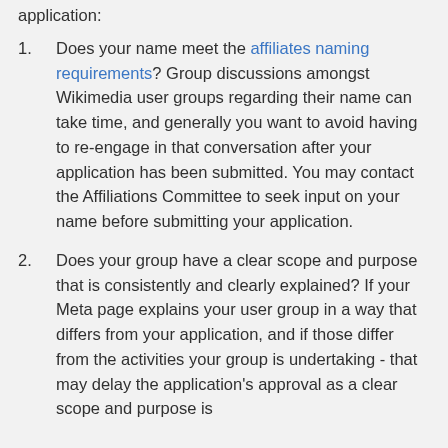application:
Does your name meet the affiliates naming requirements? Group discussions amongst Wikimedia user groups regarding their name can take time, and generally you want to avoid having to re-engage in that conversation after your application has been submitted. You may contact the Affiliations Committee to seek input on your name before submitting your application.
Does your group have a clear scope and purpose that is consistently and clearly explained? If your Meta page explains your user group in a way that differs from your application, and if those differ from the activities your group is undertaking - that may delay the application's approval as a clear scope and purpose is